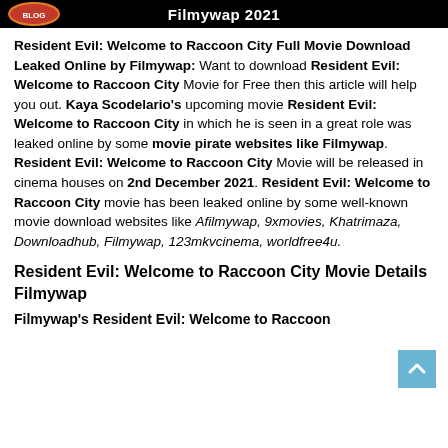Filmywap 2021
Resident Evil: Welcome to Raccoon City Full Movie Download Leaked Online by Filmywap: Want to download Resident Evil: Welcome to Raccoon City Movie for Free then this article will help you out. Kaya Scodelario's upcoming movie Resident Evil: Welcome to Raccoon City in which he is seen in a great role was leaked online by some movie pirate websites like Filmywap. Resident Evil: Welcome to Raccoon City Movie will be released in cinema houses on 2nd December 2021. Resident Evil: Welcome to Raccoon City movie has been leaked online by some well-known movie download websites like Afilmywap, 9xmovies, Khatrimaza, Downloadhub, Filmywap, 123mkvcinema, worldfree4u.
Resident Evil: Welcome to Raccoon City Movie Details Filmywap
Filmywap's Resident Evil: Welcome to Raccoon